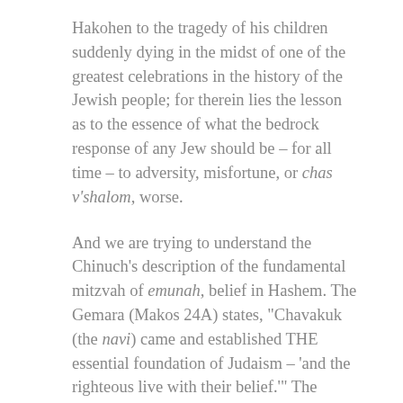Hakohen to the tragedy of his children suddenly dying in the midst of one of the greatest celebrations in the history of the Jewish people; for therein lies the lesson as to the essence of what the bedrock response of any Jew should be – for all time – to adversity, misfortune, or chas v'shalom, worse.
And we are trying to understand the Chinuch's description of the fundamental mitzvah of emunah, belief in Hashem. The Gemara (Makos 24A) states, "Chavakuk (the navi) came and established THE essential foundation of Judaism – 'and the righteous live with their belief.'" The Chinuch states that one must believe that there is a G-d who is responsible for all things and events that exist, that existed and that will ever exist; that He controls and directs all; that He took Bnei Yisroel out of Egypt miraculously, and we should not let our hearts lead us astray, thinking that perhaps the events surrounding the Exodus were freak occurrences